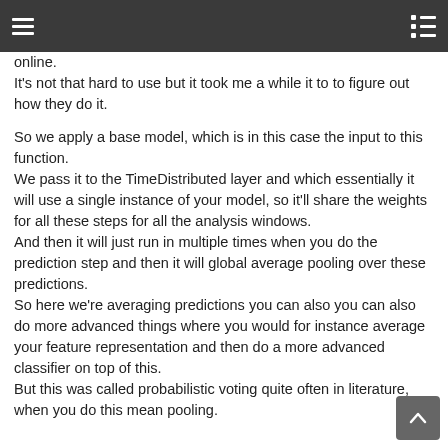online. It's not that hard to use but it took me a while it to to figure out how they do it.

So we apply a base model, which is in this case the input to this function.
We pass it to the TimeDistributed layer and which essentially it will use a single instance of your model, so it'll share the weights for all these steps for all the analysis windows.
And then it will just run in multiple times when you do the prediction step and then it will global average pooling over these predictions.
So here we're averaging predictions you can also you can also do more advanced things where you would for instance average your feature representation and then do a more advanced classifier on top of this.
But this was called probabilistic voting quite often in literature, when you do this mean pooling.